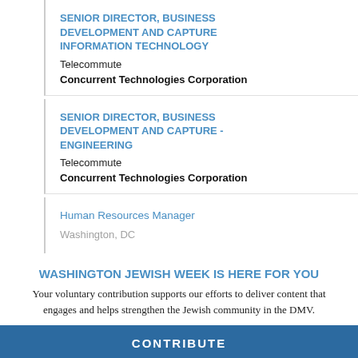SENIOR DIRECTOR, BUSINESS DEVELOPMENT AND CAPTURE INFORMATION TECHNOLOGY
Telecommute
Concurrent Technologies Corporation
SENIOR DIRECTOR, BUSINESS DEVELOPMENT AND CAPTURE - ENGINEERING
Telecommute
Concurrent Technologies Corporation
Human Resources Manager
Washington, DC
WASHINGTON JEWISH WEEK IS HERE FOR YOU
Your voluntary contribution supports our efforts to deliver content that engages and helps strengthen the Jewish community in the DMV.
CONTRIBUTE
View all Jobs